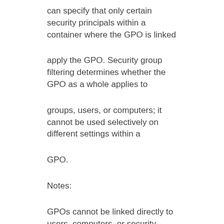can specify that only certain security principals within a container where the GPO is linked
apply the GPO. Security group filtering determines whether the GPO as a whole applies to
groups, users, or computers; it cannot be used selectively on different settings within a
GPO.
Notes:
GPOs cannot be linked directly to users, computers, or security groups. They can only be
linked to sites, domains and organizational units. However, by using security filtering, you
can narrow the scope of a GPO so that it applies only to a single group, user, or computer.